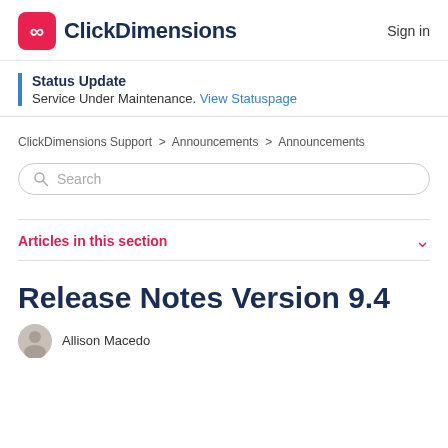ClickDimensions | Sign in
Status Update
Service Under Maintenance. View Statuspage
ClickDimensions Support > Announcements > Announcements
Search
Articles in this section
Release Notes Version 9.4
Allison Macedo